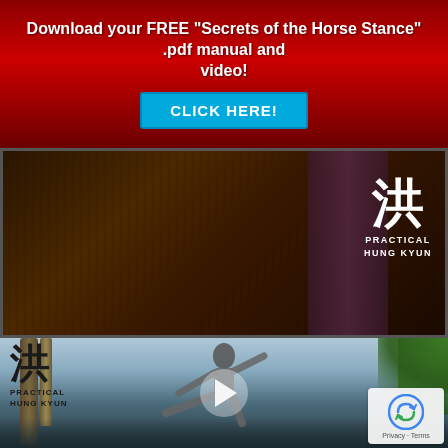Download your FREE "Secrets of the Horse Stance" .pdf manual and video!
[Figure (other): Cyan/blue CLICK HERE! call-to-action button]
[Figure (photo): Dark photo of a person in traditional clothing with Practical Hung Kyun logo (Chinese character 洪) in upper right corner]
[Figure (photo): Video thumbnail showing a martial artist performing a kick/stance outdoors among trees, with Practical Hung Kyun logo (Chinese character 洪) in upper left, a play button in the center, and a reCAPTCHA privacy badge in the lower right corner]